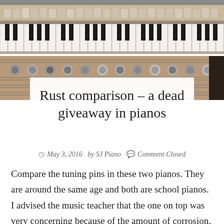[Figure (photo): Two close-up photos of piano internal mechanisms showing tuning pins and strings. Top photo shows piano keys and hammers from above. Bottom photo shows tuning pins with rust/corrosion visible on a wooden pin block.]
Rust comparison – a dead giveaway in pianos
May 3, 2016   by SJ Piano   Comment Closed
Compare the tuning pins in these two pianos. They are around the same age and both are school pianos. I advised the music teacher that the one on top was very concerning because of the amount of corrosion. Rust on strings and tuning pins is